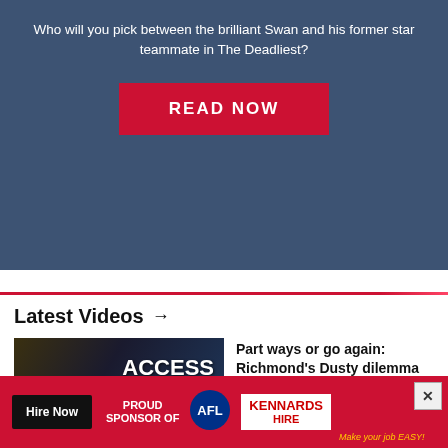Who will you pick between the brilliant Swan and his former star teammate in The Deadliest?
[Figure (other): Red READ NOW button on dark blue background]
Latest Videos →
[Figure (screenshot): Video thumbnail showing AFL player with ACCESS ALL text overlay and play button]
Part ways or go again: Richmond's Dusty dilemma
[Figure (other): Kennards Hire advertisement banner - Proud Sponsor of AFL with Hire Now button]